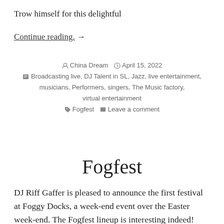Trow himself for this delightful
Continue reading. →
China Dream   April 15, 2022
Broadcasting live, DJ Talent in SL, Jazz, live entertainment, musicians, Performers, singers, The Music factory, virtual entertainment
Fogfest   Leave a comment
Fogfest
DJ Riff Gaffer is pleased to announce the first festival at Foggy Docks, a week-end event over the Easter week-end. The Fogfest lineup is interesting indeed! Fogfest